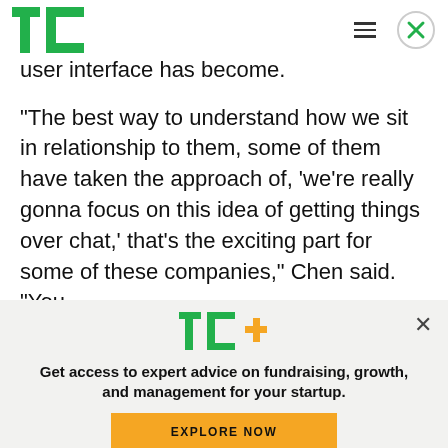TechCrunch logo and navigation bar
user interface has become.
“The best way to understand how we sit in relationship to them, some of them have taken the approach of, ‘we’re really gonna focus on this idea of getting things over chat,’ that’s the exciting part for some of these companies,” Chen said. “You
[Figure (logo): TC+ logo (TechCrunch Plus) in green and yellow]
Get access to expert advice on fundraising, growth, and management for your startup.
EXPLORE NOW